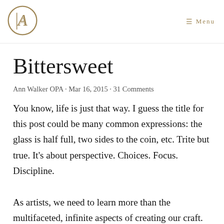☰ Menu
Bittersweet
Ann Walker OPA · Mar 16, 2015 · 31 Comments
You know, life is just that way. I guess the title for this post could be many common expressions: the glass is half full, two sides to the coin, etc. Trite but true. It's about perspective. Choices. Focus. Discipline.
As artists, we need to learn more than the multifaceted, infinite aspects of creating our craft.